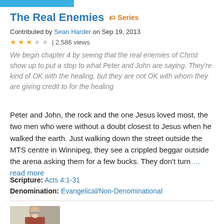The Real Enemies  ♦ Series
Contributed by Sean Harder on Sep 19, 2013
★★★☆☆ | 2,586 views
We begin chapter 4 by seeing that the real enemies of Christ show up to put a stop to what Peter and John are saying. They're kind of OK with the healing, but they are not OK with whom they are giving credit to for the healing
Peter and John, the rock and the one Jesus loved most, the two men who were without a doubt closest to Jesus when he walked the earth. Just walking down the street outside the MTS centre in Winnipeg, they see a crippled beggar outside the arena asking them for a few bucks. They don't turn ...read more
Scripture: Acts 4:1-31
Denomination: Evangelical/Non-Denominational
[Figure (photo): Headshot photo of a man with white beard wearing glasses and a reddish shirt, indoors with bookshelves in background]